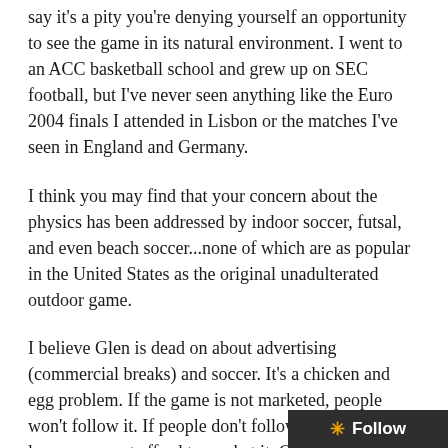say it's a pity you're denying yourself an opportunity to see the game in its natural environment. I went to an ACC basketball school and grew up on SEC football, but I've never seen anything like the Euro 2004 finals I attended in Lisbon or the matches I've seen in England and Germany.
I think you may find that your concern about the physics has been addressed by indoor soccer, futsal, and even beach soccer...none of which are as popular in the United States as the original unadulterated outdoor game.
I believe Glen is dead on about advertising (commercial breaks) and soccer. It's a chicken and egg problem. If the game is not marketed, people won't follow it. If people don't follow it, teams and leagues cannot afford to market it. One of the reasons that MLS will succeed in this country is because the deep pockets of folks like Lamar Hunt and AEG saw beyond the quick buck and realized that they had to build the league over the long term, tapping the four mark